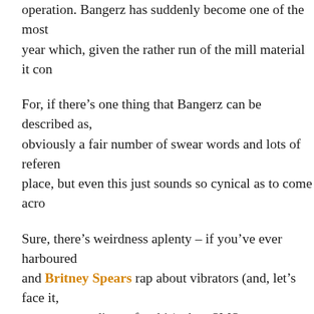operation. Bangerz has suddenly become one of the most year which, given the rather run of the mill material it con
For, if there's one thing that Bangerz can be described as, obviously a fair number of swear words and lots of referen place, but even this just sounds so cynical as to come acro
Sure, there's weirdness aplenty – if you've ever harboured and Britney Spears rap about vibrators (and, let's face it, unsavoury audience for this), then SMS (BANGERZ) is th odd moment where you have to rewind a track to ensure y yes, Miley does actually sing "I'm driving so fast I'm abo
Songs about lack of bladder control apart, there is the odd found in Bangerz. We Can't Stop is still a pretty good part rather overplayed through the summer months, and Pharr stardust over the irresistibly funky #GETITRIGHT (Yes, t